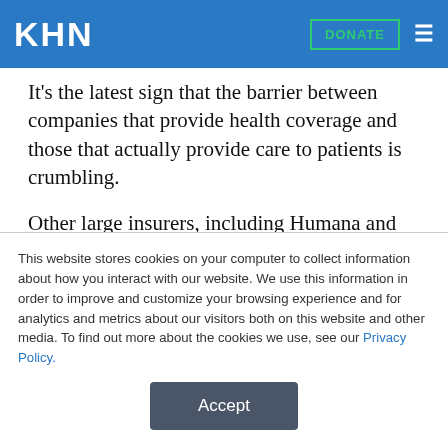KHN | DONATE
It's the latest sign that the barrier between companies that provide health coverage and those that actually provide care to patients is crumbling.
Other large insurers, including Humana and WellPoint, have announced deals involving doctors in recent months, part of a strategy to curb rising health costs that could cut into profits and to
This website stores cookies on your computer to collect information about how you interact with our website. We use this information in order to improve and customize your browsing experience and for analytics and metrics about our visitors both on this website and other media. To find out more about the cookies we use, see our Privacy Policy.
Accept